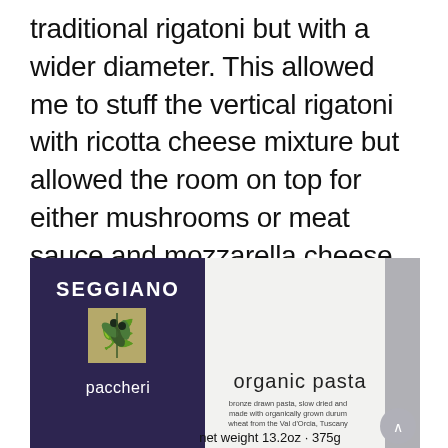traditional rigatoni but with a wider diameter. This allowed me to stuff the vertical rigatoni with ricotta cheese mixture but allowed the room on top for either mushrooms or meat sauce and mozzarella cheese. With a full-size springform pan, I would use rigatoni.
[Figure (photo): Photo of a Seggiano paccheri organic pasta package. The package has a white background with a dark purple/navy label area showing the brand name SEGGIANO in large letters, an olive branch logo on a khaki square, and text reading 'paccheri organic pasta' with subtitle 'bronze drawn pasta, slow dried and made with organically grown durum wheat from the Val d'Orcia, Tuscany', and 'net weight 13.2oz · 375g' at the bottom, along with NON GMO and USDA certification logos.]